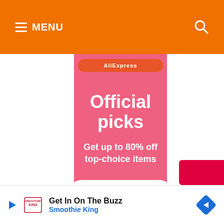≡ MENU
[Figure (screenshot): AliExpress advertisement banner with pink background showing 'Official picks - Get up to 80% off top-choice items' with a Shop now button]
AliExpress
Official picks
Get up to 80% off top-choice items
Shop now
Get In On The Buzz — Smoothie King